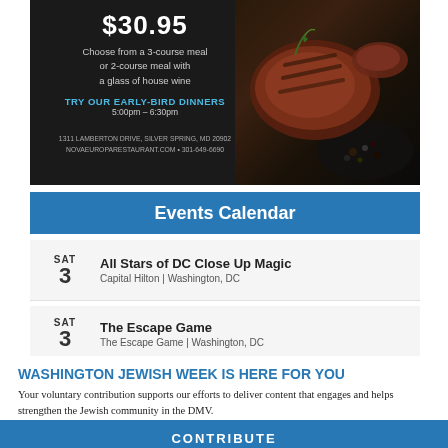[Figure (illustration): Restaurant advertisement banner with dark background showing grilled steak and food photography on right side, white text showing price $30.95, meal description, early-bird dinner info, address and website.]
Events Calendar
SAT 3 | All Stars of DC Close Up Magic | Capital Hilton | Washington, DC
SAT 3 | The Escape Game | The Escape Game | Washington, DC
WASHINGTON JEWISH WEEK IS HERE FOR YOU
Your voluntary contribution supports our efforts to deliver content that engages and helps strengthen the Jewish community in the DMV.
CONTRIBUTE
SAT 3 | Princess Diana: Accredited Access... | Tysons Corner Cent... | Tysons, VA